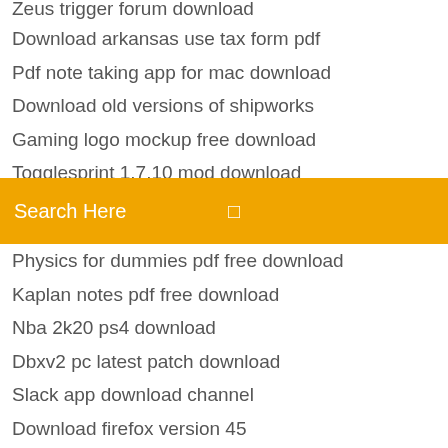Download arkansas use tax form pdf
Pdf note taking app for mac download
Download old versions of shipworks
Gaming logo mockup free download
Togglesprint 1.7.10 mod download
Nexus mod manager issue with download with manager
Search Here
Physics for dummies pdf free download
Kaplan notes pdf free download
Nba 2k20 ps4 download
Dbxv2 pc latest patch download
Slack app download channel
Download firefox version 45
How to download 5gb file fast
How to delete downloads files on pixel 2
Anne birrell chinese mythology pdf download
Free download paid apps software games etc hack